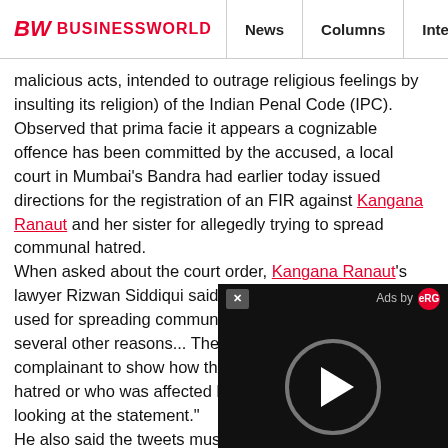BW BUSINESSWORLD | News | Columns | Interviews | BW
malicious acts, intended to outrage religious feelings by insulting its religion) of the Indian Penal Code (IPC). Observed that prima facie it appears a cognizable offence has been committed by the accused, a local court in Mumbai's Bandra had earlier today issued directions for the registration of an FIR against Kangana Ranaut and her sister for allegedly trying to spread communal hatred. When asked about the court order, Kangana Ranaut's lawyer Rizwan Siddiqui said, "My client's tweets are not used for spreading communal hatred. It spread due to several other reasons... There is a burden of proof on the complainant to show how the post spread communal hatred or who was affected by it. It cannot apply only by looking at the statement." He also said the tweets must also have some undertone of an attack on religion for these charges to apply. "To make comments, I need to see the full complaint and documents referred to and relied upon by complainant," Siddiqui said. The order was issued on a complaint, filed by Ahsrafali Sayyed, alleging that the sisters' comment on social media tried to create division between